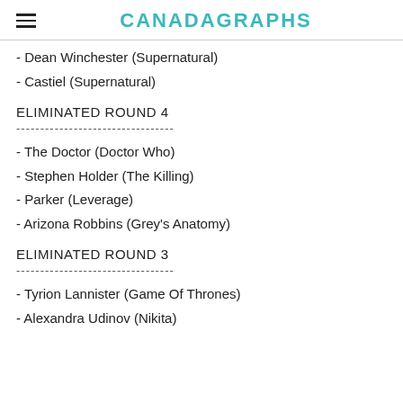CANADAGRAPHS
- Dean Winchester (Supernatural)
- Castiel (Supernatural)
ELIMINATED ROUND 4
- The Doctor (Doctor Who)
- Stephen Holder (The Killing)
- Parker (Leverage)
- Arizona Robbins (Grey's Anatomy)
ELIMINATED ROUND 3
- Tyrion Lannister (Game Of Thrones)
- Alexandra Udinov (Nikita)